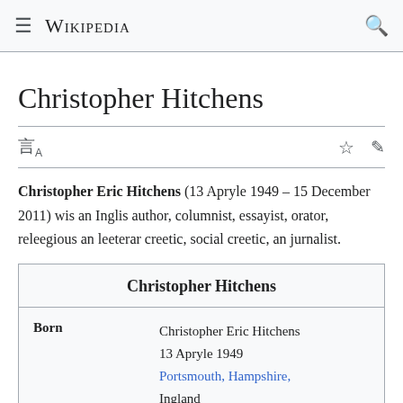Wikipedia
Christopher Hitchens
Christopher Eric Hitchens (13 Apryle 1949 – 15 December 2011) wis an Inglis author, columnist, essayist, orator, releegious an leeterar creetic, social creetic, an jurnalist.
| Christopher Hitchens |
| --- |
| Born | Christopher Eric Hitchens
13 Apryle 1949
Portsmouth, Hampshire,
Ingland |